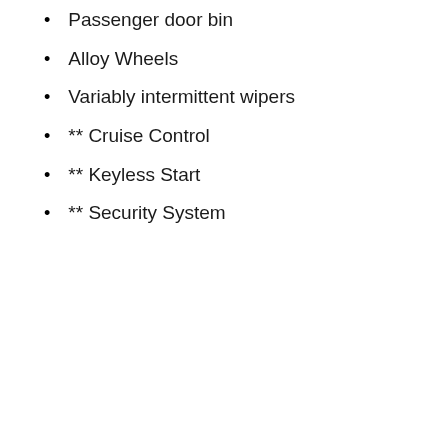Passenger door bin
Alloy Wheels
Variably intermittent wipers
** Cruise Control
** Keyless Start
** Security System